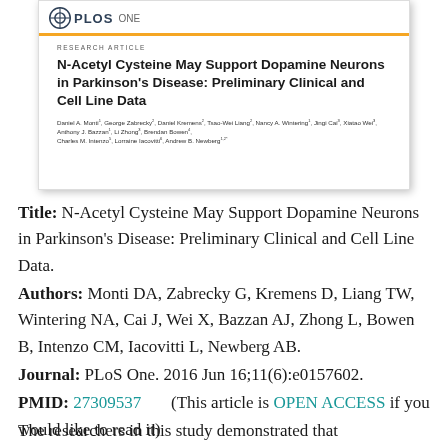[Figure (screenshot): Screenshot of a PLOS ONE research article header showing the journal logo, an orange bar, the label RESEARCH ARTICLE, the article title 'N-Acetyl Cysteine May Support Dopamine Neurons in Parkinson's Disease: Preliminary Clinical and Cell Line Data', and a list of author names.]
Title: N-Acetyl Cysteine May Support Dopamine Neurons in Parkinson's Disease: Preliminary Clinical and Cell Line Data.
Authors: Monti DA, Zabrecky G, Kremens D, Liang TW, Wintering NA, Cai J, Wei X, Bazzan AJ, Zhong L, Bowen B, Intenzo CM, Iacovitti L, Newberg AB.
Journal: PLoS One. 2016 Jun 16;11(6):e0157602.
PMID: 27309537   (This article is OPEN ACCESS if you would like to read it)
The researchers in this study demonstrated that...